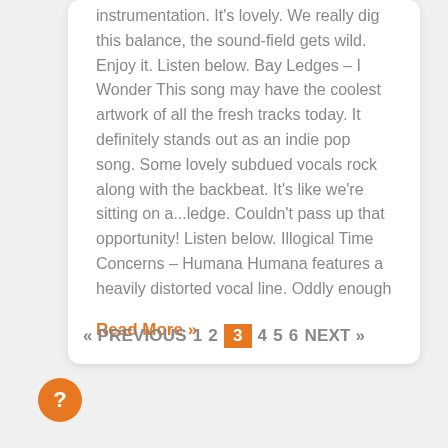instrumentation. It's lovely. We really dig this balance, the sound-field gets wild. Enjoy it. Listen below. Bay Ledges – I Wonder This song may have the coolest artwork of all the fresh tracks today. It definitely stands out as an indie pop song. Some lovely subdued vocals rock along with the backbeat. It's like we're sitting on a...ledge. Couldn't pass up that opportunity! Listen below. Illogical Time Concerns – Humana Humana features a heavily distorted vocal line. Oddly enough
Read More »
« PREVIOUS  1  2  3  4  5  6  NEXT »